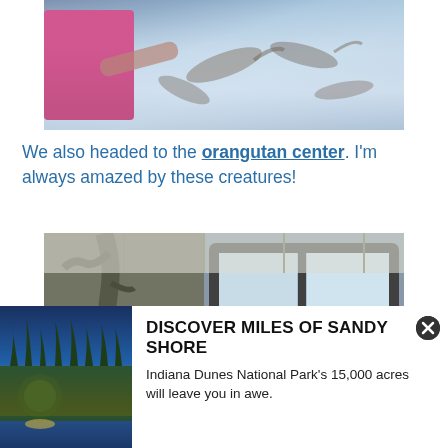[Figure (photo): A child in a pink shirt touching/interacting with what appears to be an aquarium touch tank with rays or fish visible in shallow water]
We also headed to the orangutan center. I'm always amazed by these creatures!
[Figure (photo): An interior photo of what appears to be a zoo or aquarium building, showing large glass windows and an orangutan or exhibit]
[Figure (infographic): Advertisement overlay: DISCOVER MILES OF SANDY SHORE - Indiana Dunes National Park's 15,000 acres will leave you in awe. Shows a sunset beach photo on the left and text on the right with a close button.]